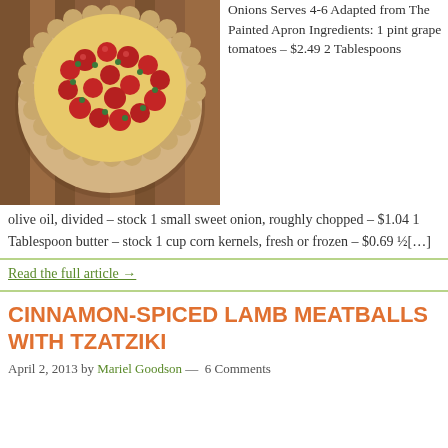[Figure (photo): A round tart or quiche topped with roasted grape tomatoes and herbs in a scalloped crust, placed on a wooden surface.]
Onions Serves 4-6 Adapted from The Painted Apron Ingredients: 1 pint grape tomatoes – $2.49 2 Tablespoons olive oil, divided – stock 1 small sweet onion, roughly chopped – $1.04 1 Tablespoon butter – stock 1 cup corn kernels, fresh or frozen – $0.69 ½[…]
Read the full article →
CINNAMON-SPICED LAMB MEATBALLS WITH TZATZIKI
April 2, 2013 by Mariel Goodson — 6 Comments